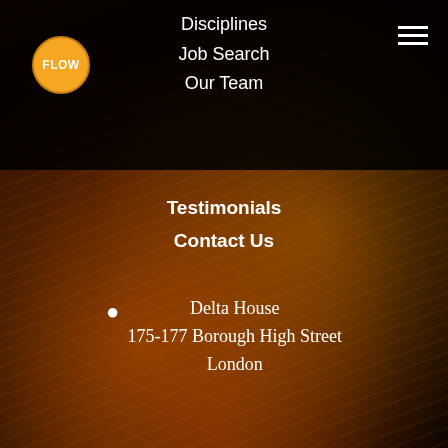[Figure (logo): FLOW circular logo, orange background with dark border]
Disciplines
Job Search
Our Team
Testimonials
Contact Us
Delta House
175-177 Borough High Street
London
This website uses cookies to ensure you get the best experience on our website.
Read More
Got it!